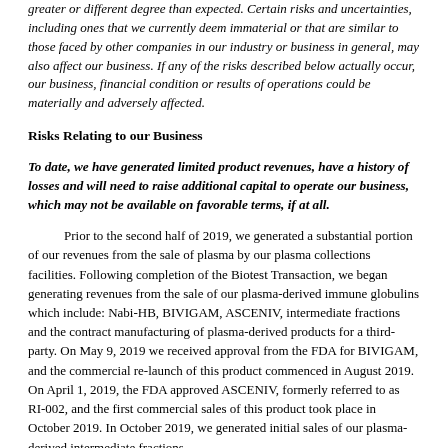greater or different degree than expected. Certain risks and uncertainties, including ones that we currently deem immaterial or that are similar to those faced by other companies in our industry or business in general, may also affect our business. If any of the risks described below actually occur, our business, financial condition or results of operations could be materially and adversely affected.
Risks Relating to our Business
To date, we have generated limited product revenues, have a history of losses and will need to raise additional capital to operate our business, which may not be available on favorable terms, if at all.
Prior to the second half of 2019, we generated a substantial portion of our revenues from the sale of plasma by our plasma collections facilities. Following completion of the Biotest Transaction, we began generating revenues from the sale of our plasma-derived immune globulins which include: Nabi-HB, BIVIGAM, ASCENIV, intermediate fractions and the contract manufacturing of plasma-derived products for a third-party. On May 9, 2019 we received approval from the FDA for BIVIGAM, and the commercial re-launch of this product commenced in August 2019. On April 1, 2019, the FDA approved ASCENIV, formerly referred to as RI-002, and the first commercial sales of this product took place in October 2019. In October 2019, we generated initial sales of our plasma-derived intermediate fractions.
Our long-term liquidity depends upon our ability to grow our commercial programs, expand our commercial operations at the Boca Facility, improve our supply-chain capabilities, improve production yields, provide more